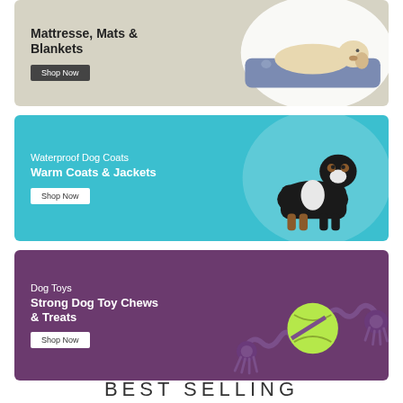[Figure (illustration): Banner 1: Beige/tan background with dog lying on a patterned mattress/bed on the right. Text: 'Mattresse, Mats & Blankets' with a dark 'Shop Now' button.]
[Figure (illustration): Banner 2: Teal/cyan background with a Bernese mountain dog wearing a black coat on the right. Text: 'Waterproof Dog Coats' and 'Warm Coats & Jackets' with a white 'Shop Now' button.]
[Figure (illustration): Banner 3: Purple background with a rope-and-ball dog toy on the right. Text: 'Dog Toys' and 'Strong Dog Toy Chews & Treats' with a white 'Shop Now' button.]
BEST SELLING